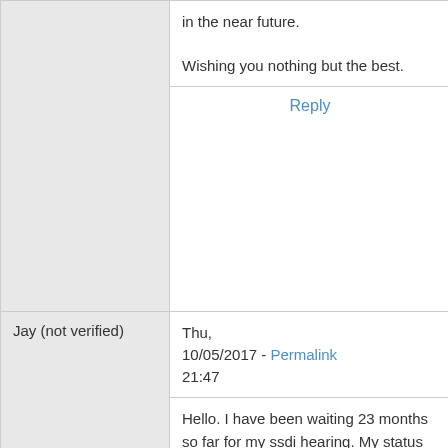in the near future.

Wishing you nothing but the best.
Reply
Jay (not verified)
Thu, 10/05/2017 - Permalink 21:47
Hello. I have been waiting 23 months so far for my ssdi hearing. My status online hasn&#039;t changed the entire 23 months it is still in hearing processing etc. I had called a couple of months ago and was told I had a judge assigned and my case